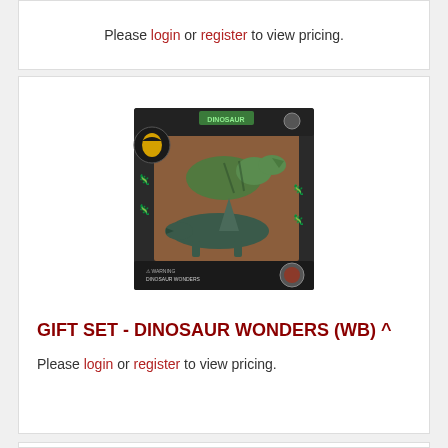Please login or register to view pricing.
[Figure (photo): Product photo of a boxed dinosaur toy gift set called Dinosaur Wonders, showing two dinosaur figures in a dark illustrated box.]
GIFT SET - DINOSAUR WONDERS (WB) ^
Please login or register to view pricing.